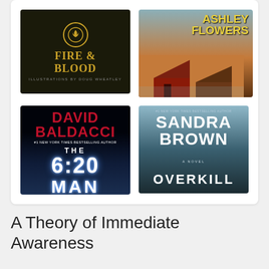[Figure (illustration): Grid of four book covers: Fire & Blood, a book by Ashley Flowers, The 6:20 Man by David Baldacci, and Overkill by Sandra Brown]
A Theory of Immediate Awareness